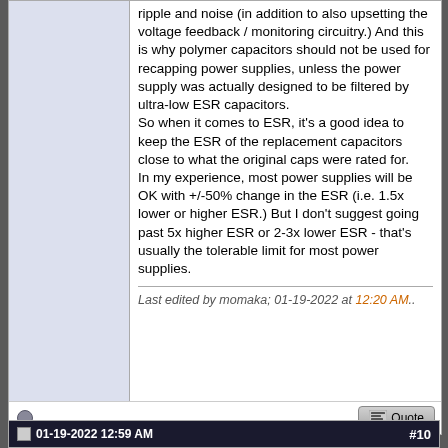ripple and noise (in addition to also upsetting the voltage feedback / monitoring circuitry.) And this is why polymer capacitors should not be used for recapping power supplies, unless the power supply was actually designed to be filtered by ultra-low ESR capacitors. So when it comes to ESR, it's a good idea to keep the ESR of the replacement capacitors close to what the original caps were rated for. In my experience, most power supplies will be OK with +/-50% change in the ESR (i.e. 1.5x lower or higher ESR.) But I don't suggest going past 5x higher ESR or 2-3x lower ESR - that's usually the tolerable limit for most power supplies.
Last edited by momaka; 01-19-2022 at 12:20 AM..
01-19-2022 12:59 AM   #10